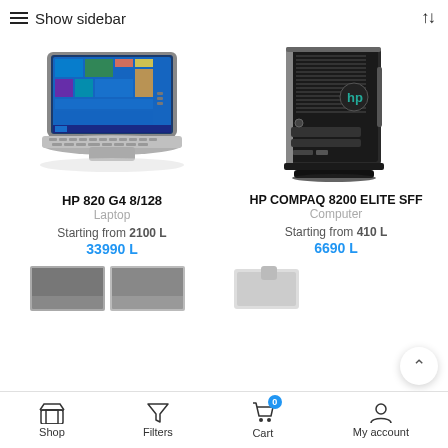Show sidebar
[Figure (screenshot): HP 820 G4 laptop computer product photo]
[Figure (screenshot): HP Compaq 8200 Elite SFF desktop computer product photo]
HP 820 G4 8/128
Laptop
Starting from 2100 L
33990 L
HP COMPAQ 8200 ELITE SFF
Computer
Starting from 410 L
6690 L
Shop  Filters  Cart  My account